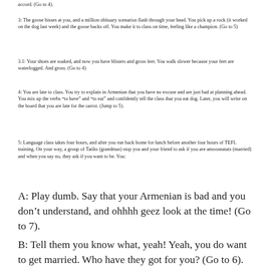accord. (Go to 4).
3: The goose hisses at you, and a million obituary scenarios flash through your head. You pick up a rock (it worked on the dog last week) and the goose backs off. You make it to class on time, feeling like a champion. (Go to 5)
3.1: Your shoes are soaked, and now you have blisters and gross feet. You walk slower because your feet are waterlogged. And gross. (Go to 4)
4: You are late to class. You try to explain in Armenian that you have no excuse and are just bad at planning ahead. You mix up the verbs “to have” and “to eat” and confidently tell the class that you eat dog. Later, you will write on the board that you are late for the carrot. (Jump to 5).
5: Language class takes four hours, and after you run back home for lunch before another four hours of TEFL training. On your way, a group of Tatiks (grandmas) stop you and your friend to ask if you are amoosnatats (married) and when you say no, they ask if you want to be. You:
A: Play dumb. Say that your Armenian is bad and you don’t understand, and ohhhh geez look at the time! (Go to 7).
B: Tell them you know what, yeah! Yeah, you do want to get married. Who have they got for you? (Go to 6).